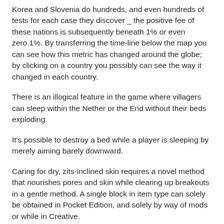Korea and Slovenia do hundreds, and even hundreds of tests for each case they discover _ the positive fee of these nations is subsequently beneath 1% or even zero.1%. By transferring the time-line below the map you can see how this metric has changed around the globe; by clicking on a country you possibly can see the way it changed in each country.
There is an illogical feature in the game where villagers can sleep within the Nether or the End without their beds exploding.
It's possible to destroy a bed while a player is sleeping by merely aiming barely downward.
Caring for dry, zits-inclined skin requires a novel method that nourishes pores and skin while clearing up breakouts in a gentle method. A single block in item type can solely be obtained in Pocket Edition, and solely by way of mods or while in Creative.
If you liked this article and you would like to receive more info concerning el forum cual es el mejor gel para alargar el pene please visit our web